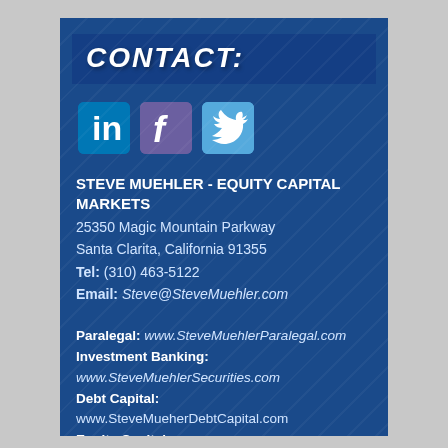CONTACT:
[Figure (infographic): Three social media icons: LinkedIn (blue), Facebook (purple), Twitter (light blue)]
STEVE MUEHLER - EQUITY CAPITAL MARKETS
25350 Magic Mountain Parkway
Santa Clarita, California 91355
Tel: (310) 463-5122
Email: Steve@SteveMuehler.com
Paralegal: www.SteveMuehlerParalegal.com
Investment Banking:
www.SteveMuehlerSecurities.com
Debt Capital:
www.SteveMueherDebtCapital.com
Equity Capital:
www.SteveMuehlerEquityCapital.com